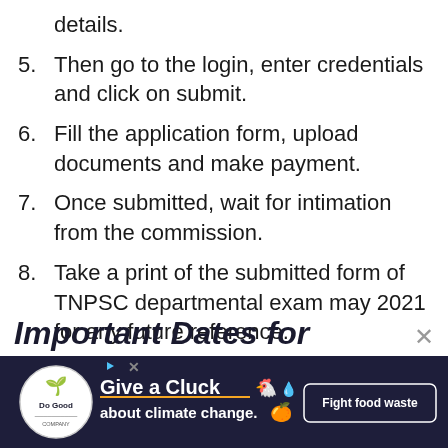details.
5. Then go to the login, enter credentials and click on submit.
6. Fill the application form, upload documents and make payment.
7. Once submitted, wait for intimation from the commission.
8. Take a print of the submitted form of TNPSC departmental exam may 2021 for any future reference.
Important Dates for
[Figure (infographic): Advertisement banner for 'Give a Cluck about climate change. Fight food waste' by Do Good organization, dark navy background with orange chicken icon and white text.]